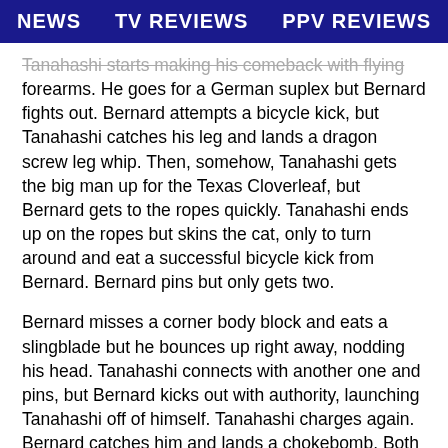NEWS   TV REVIEWS   PPV REVIEWS
Tanahashi starts making his comeback with flying forearms. He goes for a German suplex but Bernard fights out. Bernard attempts a bicycle kick, but Tanahashi catches his leg and lands a dragon screw leg whip. Then, somehow, Tanahashi gets the big man up for the Texas Cloverleaf, but Bernard gets to the ropes quickly. Tanahashi ends up on the ropes but skins the cat, only to turn around and eat a successful bicycle kick from Bernard. Bernard pins but only gets two.
Bernard misses a corner body block and eats a slingblade but he bounces up right away, nodding his head. Tanahashi connects with another one and pins, but Bernard kicks out with authority, launching Tanahashi off of himself. Tanahashi charges again. Bernard catches him and lands a chokebomb. Both